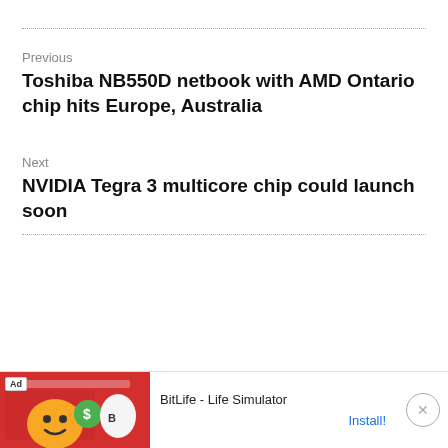Previous
Toshiba NB550D netbook with AMD Ontario chip hits Europe, Australia
Next
NVIDIA Tegra 3 multicore chip could launch soon
[Figure (other): Advertisement banner for BitLife - Life Simulator app with red background, emoji graphics, and Install button]